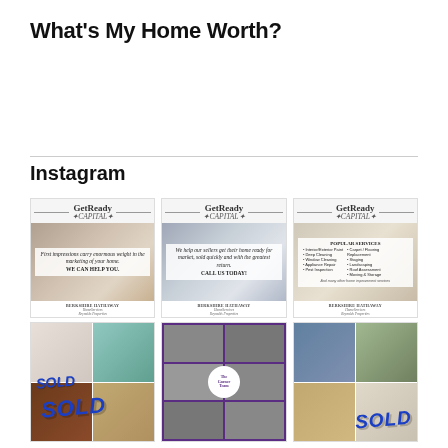What's My Home Worth?
Instagram
[Figure (illustration): GetReady Capital Instagram card 1: 'First impressions carry enormous weight in the marketing of your home. WE CAN HELP YOU.' with Berkshire Hathaway footer]
[Figure (illustration): GetReady Capital Instagram card 2: 'We help our sellers get their home ready for market, sold quickly and with the greatest return. CALL US TODAY!' with Berkshire Hathaway footer]
[Figure (illustration): GetReady Capital Instagram card 3: Popular Services list with Berkshire Hathaway footer]
[Figure (photo): Photo collage with SOLD overlay - interior home photos]
[Figure (photo): Purple background collage with The Garner Team circle logo and group photos]
[Figure (photo): Photo collage of house exterior with SOLD overlay]